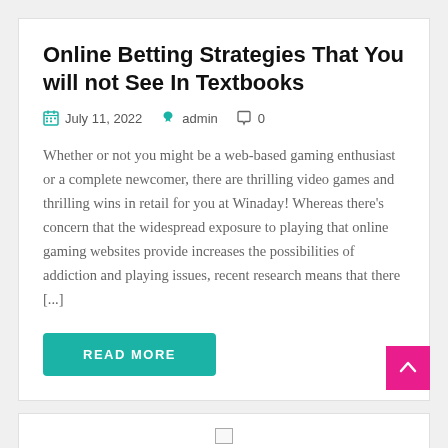Online Betting Strategies That You will not See In Textbooks
July 11, 2022   admin   0
Whether or not you might be a web-based gaming enthusiast or a complete newcomer, there are thrilling video games and thrilling wins in retail for you at Winaday! Whereas there’s concern that the widespread exposure to playing that online gaming websites provide increases the possibilities of addiction and playing issues, recent research means that there [...]
READ MORE
Finest Make Kind Of Betting Machines You Will Find Out This Yr